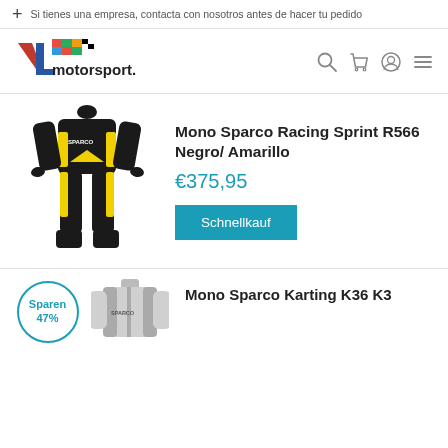+ Si tienes una empresa, contacta con nosotros antes de hacer tu pedido
[Figure (logo): VL Motorsport logo with colorful racing flag graphic and text 'motorsport.']
[Figure (photo): Black and yellow Sparco Racing Sprint R566 racing suit, full body view]
Mono Sparco Racing Sprint R566 Negro/ Amarillo
€375,95
Schnellkauf
[Figure (photo): Partial view of a light grey/silver Sparco Karting racing suit top]
Sparen 47%
Mono Sparco Karting K36 K3